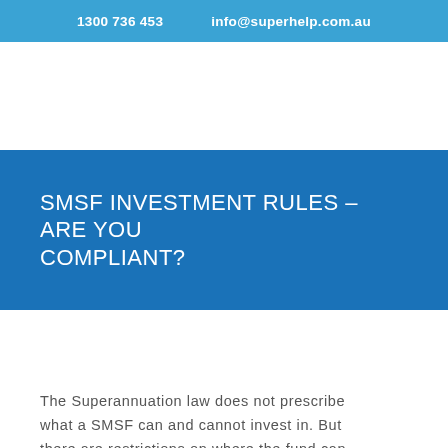1300 736 453    info@superhelp.com.au
SMSF INVESTMENT RULES – ARE YOU COMPLIANT?
The Superannuation law does not prescribe what a SMSF can and cannot invest in. But there are restrictions on where the fund can